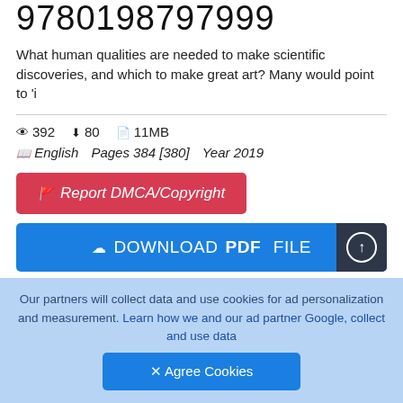9780198797999
What human qualities are needed to make scientific discoveries, and which to make great art? Many would point to 'i
👁 392   ⬇ 80   📄 11MB
📖 English   Pages 384 [380]   Year 2019
[Figure (other): Red button: 🚩 Report DMCA/Copyright]
[Figure (other): Blue button: DOWNLOAD PDF FILE with upload icon]
Table of contents :
Cover
Our partners will collect data and use cookies for ad personalization and measurement. Learn how we and our ad partner Google, collect and use data
[Figure (other): Blue Agree Cookies button]